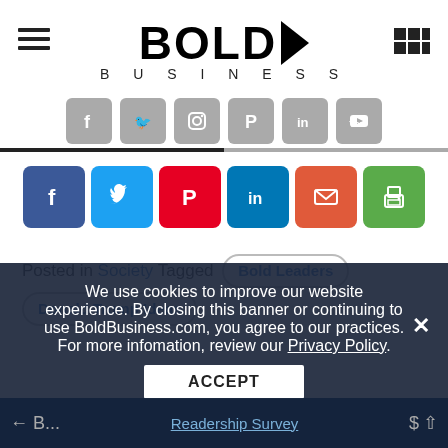[Figure (logo): Bold Business logo with hamburger menu and grid icon]
[Figure (other): Gray social media icons row: Facebook, Twitter, Instagram, Pinterest, LinkedIn, YouTube]
[Figure (other): Colored share buttons row: Facebook (blue), Twitter (light blue), Pinterest (red), LinkedIn (teal), Email (orange-red), Print (green)]
Posted in Society Tagged Bold Leaders Donald Trump Ideas
We use cookies to improve our website experience. By closing this banner or continuing to use BoldBusiness.com, you agree to our practices. For more infomation, review our Privacy Policy.
ACCEPT
Readership Survey